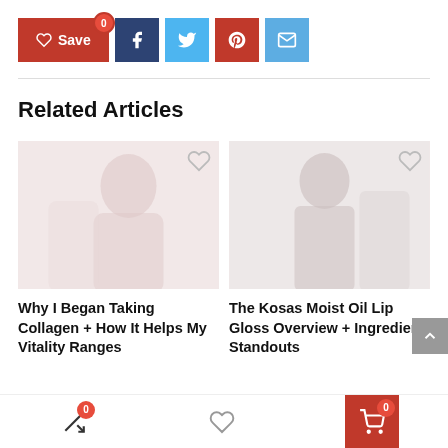[Figure (other): Social sharing bar with Save (heart), Facebook, Twitter, Pinterest, and Email buttons]
Related Articles
[Figure (photo): Faded photo of a woman - article thumbnail for 'Why I Began Taking Collagen + How It Helps My Vitality Ranges']
Why I Began Taking Collagen + How It Helps My Vitality Ranges
[Figure (photo): Faded photo of a man in suit - article thumbnail for 'The Kosas Moist Oil Lip Gloss Overview + Ingredient Standouts']
The Kosas Moist Oil Lip Gloss Overview + Ingredient Standouts
[Figure (other): Bottom navigation bar with shuffle (badge 0), heart/save, and shopping cart (badge 0) buttons]